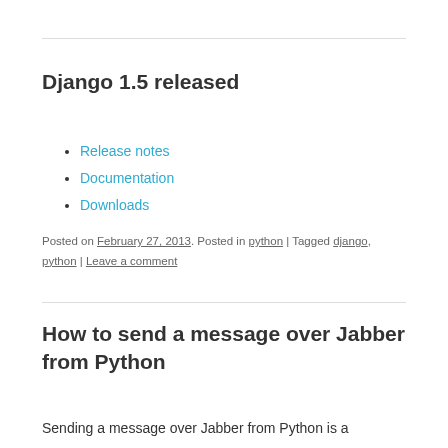Django 1.5 released
Release notes
Documentation
Downloads
Posted on February 27, 2013. Posted in python | Tagged django, python | Leave a comment
How to send a message over Jabber from Python
Sending a message over Jabber from Python is a